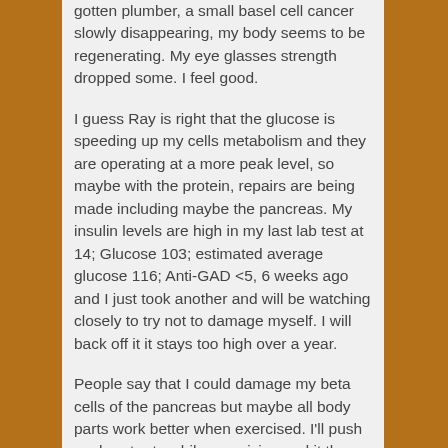gotten plumber, a small basel cell cancer slowly disappearing, my body seems to be regenerating. My eye glasses strength dropped some. I feel good.
I guess Ray is right that the glucose is speeding up my cells metabolism and they are operating at a more peak level, so maybe with the protein, repairs are being made including maybe the pancreas. My insulin levels are high in my last lab test at 14; Glucose 103; estimated average glucose 116; Anti-GAD <5, 6 weeks ago and I just took another and will be watching closely to try not to damage myself. I will back off it it stays too high over a year.
People say that I could damage my beta cells of the pancreas but maybe all body parts work better when exercised. I'll push my heart rate while exercising and it then gets stronger. Maybe by not eating what interferes with and/or damages the body this is what can happen? I usually test diets